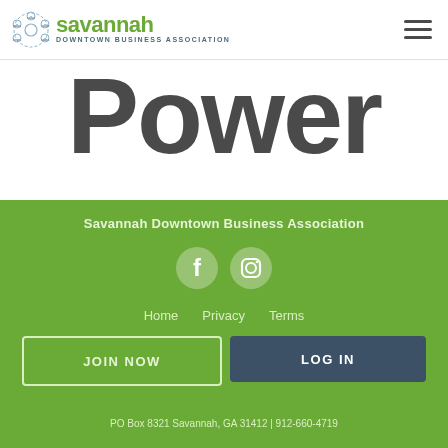[Figure (logo): Savannah Downtown Business Association logo with circular SDBA/ECPS icon and green savannah text]
Power
Savannah Downtown Business Association
[Figure (other): Social media icons: Facebook and Instagram circles in white on green background]
Home   Privacy   Terms
JOIN NOW
LOG IN
PO Box 8321 Savannah, GA 31412 | 912-660-4719